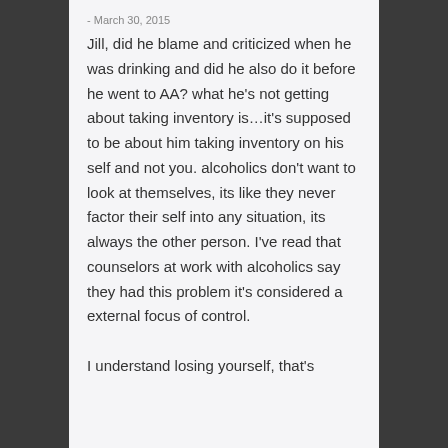- March 30, 2015
Jill, did he blame and criticized when he was drinking and did he also do it before he went to AA? what he's not getting about taking inventory is…it's supposed to be about him taking inventory on his self and not you. alcoholics don't want to look at themselves, its like they never factor their self into any situation, its always the other person. I've read that counselors at work with alcoholics say they had this problem it's considered a external focus of control. I understand losing yourself, that's